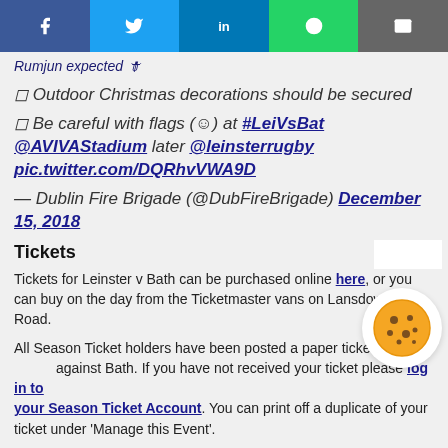A [f] win [t] place om in to midnight. Also here Rumjun expected
Outdoor Christmas decorations should be secured
Be careful with flags (☺) at #LeiVsBat @AVIVAStadium later @leinsterrugby pic.twitter.com/DQRhvVWA9D
— Dublin Fire Brigade (@DubFireBrigade) December 15, 2018
Tickets
Tickets for Leinster v Bath can be purchased online here, or you can buy on the day from the Ticketmaster vans on Lansdowne Road.
All Season Ticket holders have been posted a paper ticket for the match against Bath. If you have not received your ticket please log in to your Season Ticket Account. You can print off a duplicate of your ticket under 'Manage this Event'.